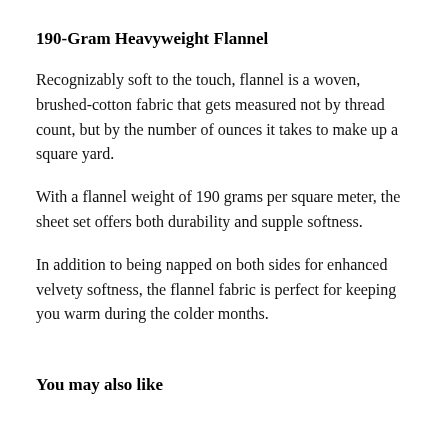190-Gram Heavyweight Flannel
Recognizably soft to the touch, flannel is a woven, brushed-cotton fabric that gets measured not by thread count, but by the number of ounces it takes to make up a square yard.
With a flannel weight of 190 grams per square meter, the sheet set offers both durability and supple softness.
In addition to being napped on both sides for enhanced velvety softness, the flannel fabric is perfect for keeping you warm during the colder months.
You may also like